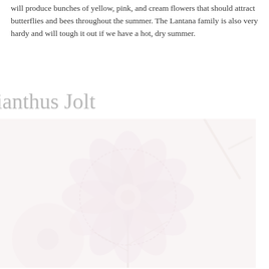will produce bunches of yellow, pink, and cream flowers that should attract butterflies and bees throughout the summer. The Lantana family is also very hardy and will tough it out if we have a hot, dry summer.
ianthus Jolt
[Figure (photo): A very light, washed-out photograph of a pink Dianthus (carnation-type) flower with spiky fringed petals, shown close up against a pale background.]